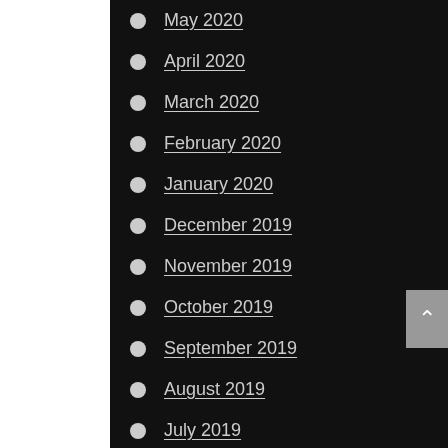May 2020
April 2020
March 2020
February 2020
January 2020
December 2019
November 2019
October 2019
September 2019
August 2019
July 2019
March 2019
February 2019
January 2019